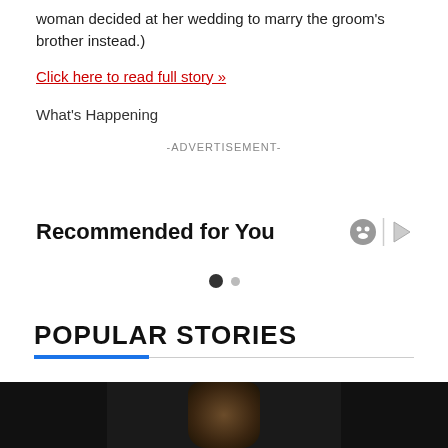woman decided at her wedding to marry the groom's brother instead.)
Click here to read full story »
What's Happening
-ADVERTISEMENT-
Recommended for You
POPULAR STORIES
[Figure (photo): Three thumbnail images side by side showing popular story thumbnails. The center image shows a person with curly hair.]